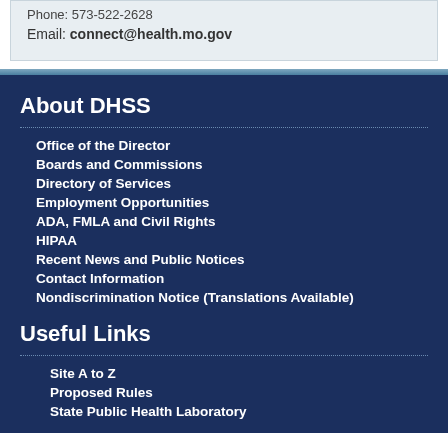Phone: 573-522-2628
Email: connect@health.mo.gov
About DHSS
Office of the Director
Boards and Commissions
Directory of Services
Employment Opportunities
ADA, FMLA and Civil Rights
HIPAA
Recent News and Public Notices
Contact Information
Nondiscrimination Notice (Translations Available)
Useful Links
Site A to Z
Proposed Rules
State Public Health Laboratory